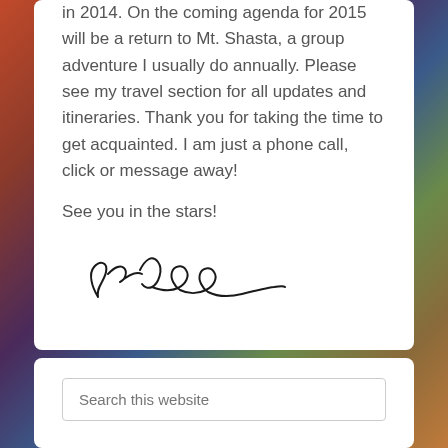in 2014. On the coming agenda for 2015 will be a return to Mt. Shasta, a group adventure I usually do annually. Please see my travel section for all updates and itineraries. Thank you for taking the time to get acquainted. I am just a phone call, click or message away!
See you in the stars!
[Figure (illustration): Handwritten cursive signature reading 'Dr. Amoaa' or similar]
Search this website